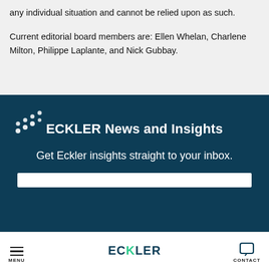any individual situation and cannot be relied upon as such.
Current editorial board members are: Ellen Whelan, Charlene Milton, Philippe Laplante, and Nick Gubbay.
[Figure (logo): Eckler dots logo mark — scattered white dots pattern on dark teal background]
ECKLER News and Insights
Get Eckler insights straight to your inbox.
MENU  ECKLER  CONTACT